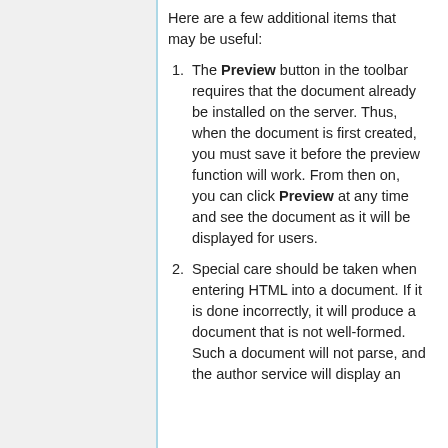Here are a few additional items that may be useful:
The Preview button in the toolbar requires that the document already be installed on the server. Thus, when the document is first created, you must save it before the preview function will work. From then on, you can click Preview at any time and see the document as it will be displayed for users.
Special care should be taken when entering HTML into a document. If it is done incorrectly, it will produce a document that is not well-formed. Such a document will not parse, and the author service will display an